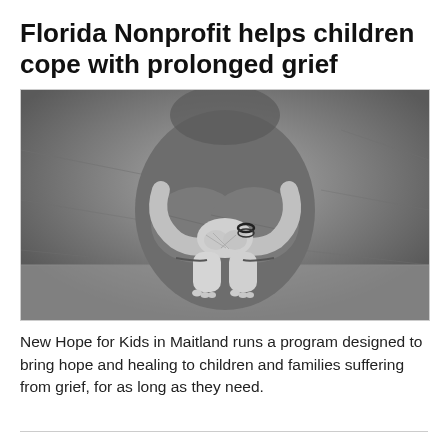Florida Nonprofit helps children cope with prolonged grief
[Figure (photo): Black and white photograph of a child sitting with knees up, arms wrapped around legs, barefoot, wearing a denim outfit, sitting on a draped fabric surface. The child's face is not visible.]
New Hope for Kids in Maitland runs a program designed to bring hope and healing to children and families suffering from grief, for as long as they need.